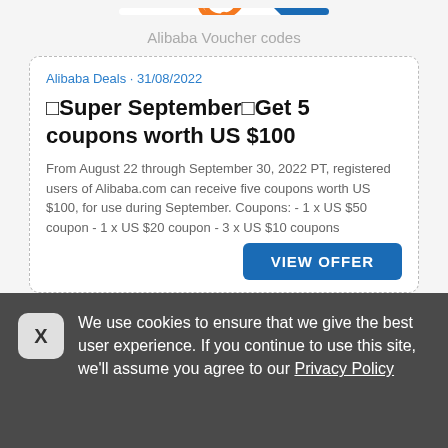[Figure (logo): Alibaba.com logo with orange swirl and text, inside a white rounded box with blue corner triangle]
Alibaba Voucher codes
Alibaba Deals • 31/08/2022
🔴Super September🔴Get 5 coupons worth US $100
From August 22 through September 30, 2022 PT, registered users of Alibaba.com can receive five coupons worth US $100, for use during September. Coupons: - 1 x US $50 coupon - 1 x US $20 coupon - 3 x US $10 coupons
VIEW OFFER
We use cookies to ensure that we give the best user experience. If you continue to use this site, we'll assume you agree to our Privacy Policy